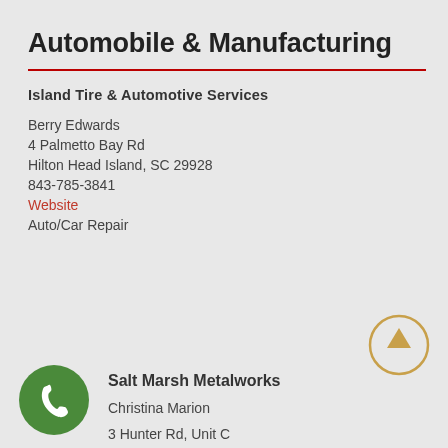Automobile & Manufacturing
Island Tire & Automotive Services
Berry Edwards
4 Palmetto Bay Rd
Hilton Head Island, SC 29928
843-785-3841
Website
Auto/Car Repair
Salt Marsh Metalworks
Christina Marion
3 Hunter Rd, Unit C